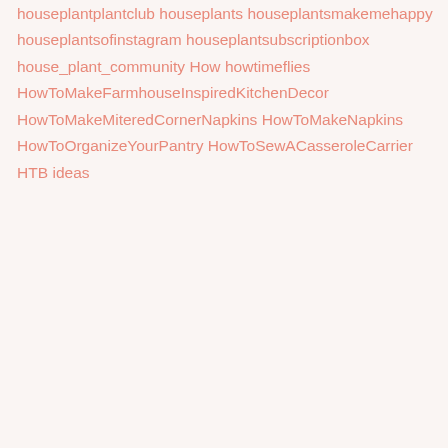houseplantplantclub
houseplants
houseplantsmakemehappy
houseplantsofinstagram
houseplantsubscriptionbox
house_plant_community
How
howtimeflies
HowToMakeFarmhouseInspiredKitchenDecor
HowToMakeMiteredCornerNapkins
HowToMakeNapkins
HowToOrganizeYourPantry
HowToSewACasseroleCarrier
HTB
ideas